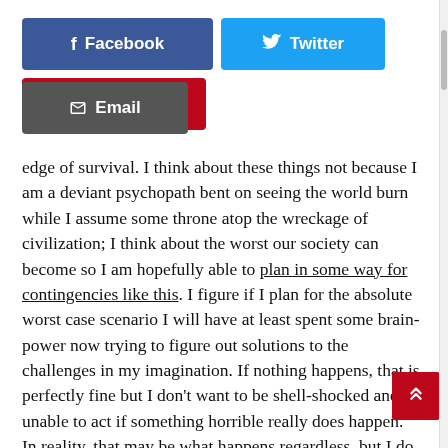[Figure (other): Social media share buttons: Facebook (blue), Twitter (light blue), Pinterest (red), Email (grey)]
edge of survival. I think about these things not because I am a deviant psychopath bent on seeing the world burn while I assume some throne atop the wreckage of civilization; I think about the worst our society can become so I am hopefully able to plan in some way for contingencies like this. I figure if I plan for the absolute worst case scenario I will have at least spent some brain-power now trying to figure out solutions to the challenges in my imagination. If nothing happens, that is perfectly fine but I don't want to be shell-shocked and unable to act if something horrible really does happen. In reality, that may be what happens regardless, but I do consider